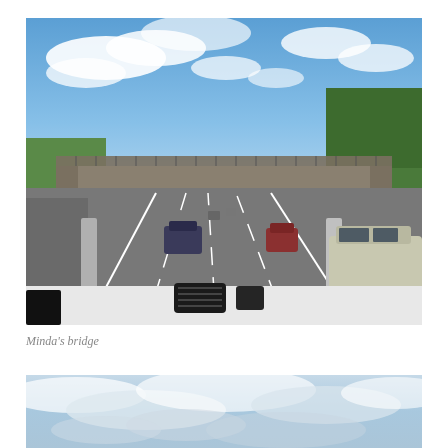[Figure (photo): Dashboard-level view from inside a vehicle driving on a multi-lane highway. A pedestrian overpass bridge spans the road ahead. Trees line the right side. A silver SUV is visible on the right lane. Several vehicles are ahead in the distance. Blue sky with white clouds above.]
Minda’s bridge
[Figure (photo): Partial photo showing a sky with clouds, light blue sky, taken from a moving vehicle — only the top portion visible.]